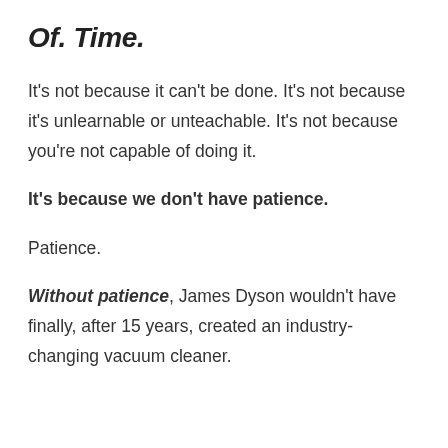Of. Time.
It's not because it can't be done. It's not because it's unlearnable or unteachable. It's not because you're not capable of doing it.
It's because we don't have patience.
Patience.
Without patience, James Dyson wouldn't have finally, after 15 years, created an industry-changing vacuum cleaner.